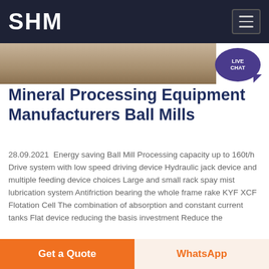SHM
[Figure (photo): Partial image of a construction or mining site]
Mineral Processing Equipment Manufacturers Ball Mills
28.09.2021  Energy saving Ball Mill Processing capacity up to 160t/h Drive system with low speed driving device Hydraulic jack device and multiple feeding device choices Large and small rack spay mist lubrication system Antifriction bearing the whole frame rake KYF XCF Flotation Cell The combination of absorption and constant current tanks Flat device reducing the basis investment Reduce the
Chat Online
Get a Quote
WhatsApp